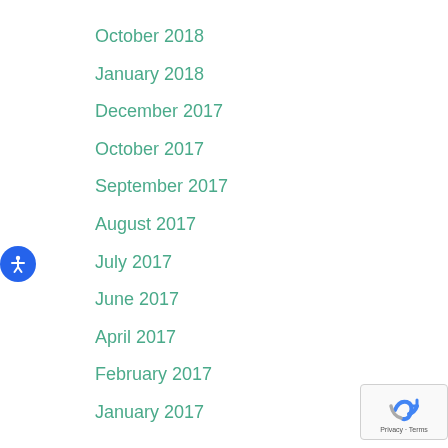October 2018
January 2018
December 2017
October 2017
September 2017
August 2017
July 2017
June 2017
April 2017
February 2017
January 2017
[Figure (logo): reCAPTCHA badge with Privacy and Terms text]